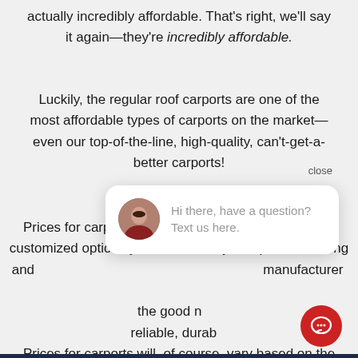actually incredibly affordable. That's right, we'll say it again—they're incredibly affordable.
Luckily, the regular roof carports are one of the most affordable types of carports on the market—even our top-of-the-line, high-quality, can't-get-a-better carports!
Prices for carports will, of course, vary based on the customized options you choose for your specific building and other minor details (such as location, manufacturer, the good news is reliable, durable
[Figure (screenshot): Chat popup widget with avatar of a woman and text 'Hi there, have a question? Text us here.' with a close button and a red chat button in the corner.]